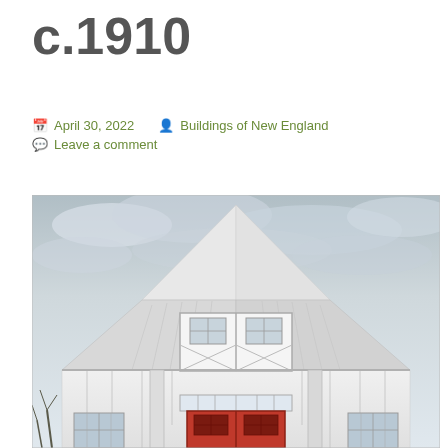c.1910
April 30, 2022   Buildings of New England
Leave a comment
[Figure (photo): A white gambrel-roofed barn photographed from the front. The barn has white vertical board siding, a large upper sliding door with two windows, and red double doors at the ground level with small windows on either side. The sky is overcast with grey-blue clouds. Bare trees are visible at the lower left.]